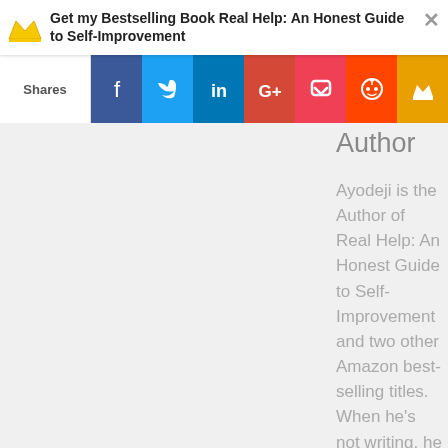Get my Bestselling Book Real Help: An Honest Guide to Self-Improvement
[Figure (screenshot): Social share bar with Shares label and icons for Facebook, Twitter, LinkedIn, Google+, Pocket, Reddit, and crown/bookmark]
Author
Ayodeji is the Author of Real Help: An Honest Guide to Self-Improvement and two other Amazon best-selling titles. When he's not writing, he enjoys reading, exercising, eating